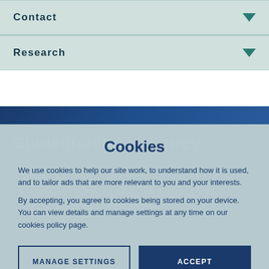Contact
Research
Studentships at Surrey
We have studentships and scholarships available
SEE OUR FULL LIST
Cookies
We use cookies to help our site work, to understand how it is used, and to tailor ads that are more relevant to you and your interests.
By accepting, you agree to cookies being stored on your device. You can view details and manage settings at any time on our cookies policy page.
MANAGE SETTINGS
ACCEPT